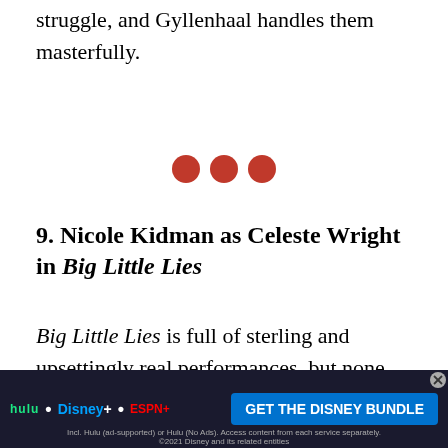struggle, and Gyllenhaal handles them masterfully.
[Figure (other): Three dark red / maroon circles used as a section divider]
9. Nicole Kidman as Celeste Wright in Big Little Lies
Big Little Lies is full of sterling and upsettingly real performances, but none more so than Nicole Kidman's. Celeste Wright, Kidman's beautiful, elegant ex-attorney, has an outwardly perfect life marred by her husband's controlling and violent abuse... 's buried... kable
[Figure (screenshot): Advertisement banner: GET THE DISNEY BUNDLE featuring Hulu, Disney+, ESPN+ logos with fine print about access and 2021 Disney.]